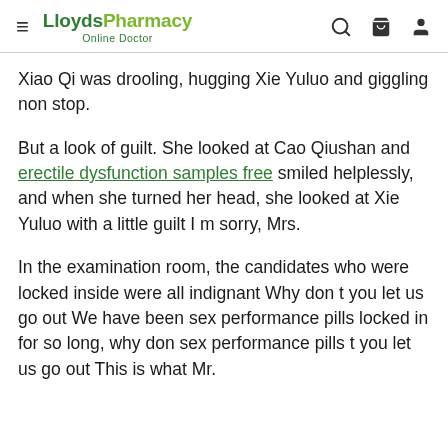LloydsPharmacy Online Doctor
Xiao Qi was drooling, hugging Xie Yuluo and giggling non stop.
But a look of guilt. She looked at Cao Qiushan and erectile dysfunction samples free smiled helplessly, and when she turned her head, she looked at Xie Yuluo with a little guilt I m sorry, Mrs.
In the examination room, the candidates who were locked inside were all indignant Why don t you let us go out We have been sex performance pills locked in for so long, why don sex performance pills t you let us go out This is what Mr.